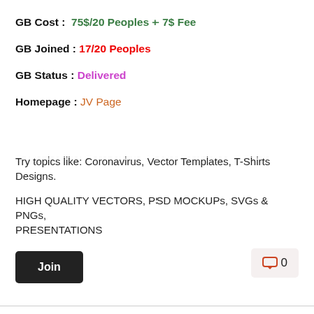GB Cost :  75$/20 Peoples + 7$ Fee
GB Joined : 17/20 Peoples
GB Status : Delivered
Homepage : JV Page
Try topics like: Coronavirus, Vector Templates, T-Shirts Designs.
HIGH QUALITY VECTORS, PSD MOCKUPs, SVGs & PNGs, PRESENTATIONS
Join
0
[Group Buy] Convertful